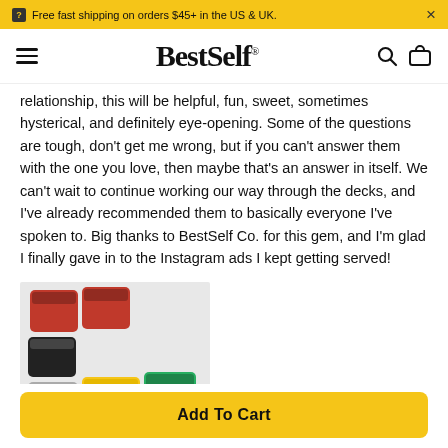Free fast shipping on orders $45+ in the US & UK.
BestSelf
relationship, this will be helpful, fun, sweet, sometimes hysterical, and definitely eye-opening. Some of the questions are tough, don't get me wrong, but if you can't answer them with the one you love, then maybe that's an answer in itself. We can't wait to continue working our way through the decks, and I've already recommended them to basically everyone I've spoken to. Big thanks to BestSelf Co. for this gem, and I'm glad I finally gave in to the Instagram ads I kept getting served!
[Figure (photo): Photo of multiple BestSelf card deck boxes in various colors including red, black, yellow, gray, and green arranged on a light surface]
Add To Cart